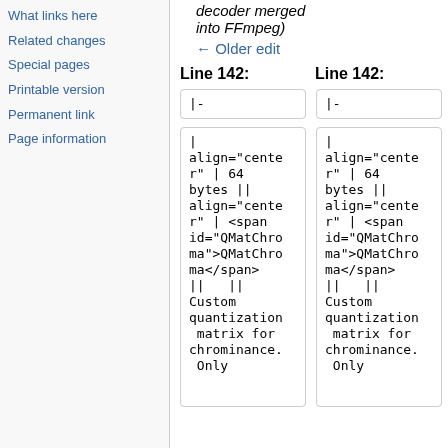What links here
Related changes
Special pages
Printable version
Permanent link
Page information
decoder merged into FFmpeg)
← Older edit
Line 142:
Line 142:
|-
|-
| align="center" | 64 bytes || align="center" | <span id="QMatChroma">QMatChroma</span> || || Custom quantization matrix for chrominance. Only
| align="center" | 64 bytes || align="center" | <span id="QMatChroma">QMatChroma</span> || || Custom quantization matrix for chrominance. Only